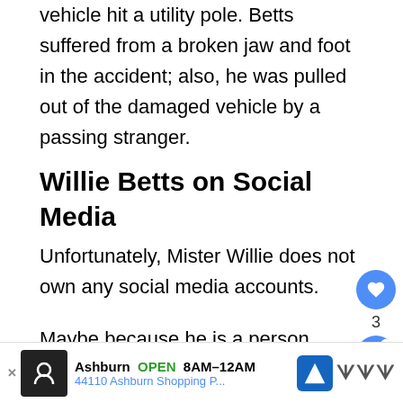vehicle hit a utility pole. Betts suffered from a broken jaw and foot in the accident; also, he was pulled out of the damaged vehicle by a passing stranger.
Willie Betts on Social Media
Unfortunately, Mister Willie does not own any social media accounts.
Maybe because he is a person from the old life, he the people who enjoy living in the present mome... you shall find old Willie beside his son in most o... the... functions
Ashburn OPEN 8AM-12AM 44110 Ashburn Shopping P...